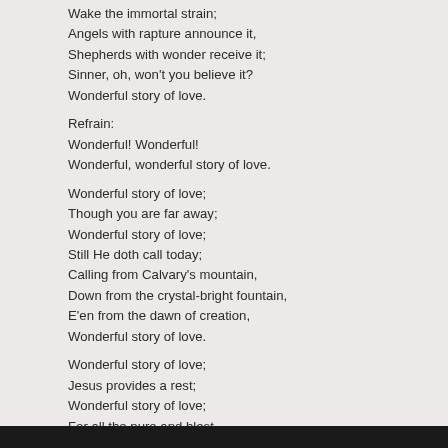Wake the immortal strain;
Angels with rapture announce it,
Shepherds with wonder receive it;
Sinner, oh, won't you believe it?
Wonderful story of love.
Refrain:
Wonderful! Wonderful!
Wonderful, wonderful story of love.
Wonderful story of love;
Though you are far away;
Wonderful story of love;
Still He doth call today;
Calling from Calvary's mountain,
Down from the crystal-bright fountain,
E'en from the dawn of creation,
Wonderful story of love.
Wonderful story of love;
Jesus provides a rest;
Wonderful story of love;
For all the pure and blest,
Rest in those mansions above us,
With those who've gone on before us,
Singing the rapturous chorus,
Wonderful story of love.